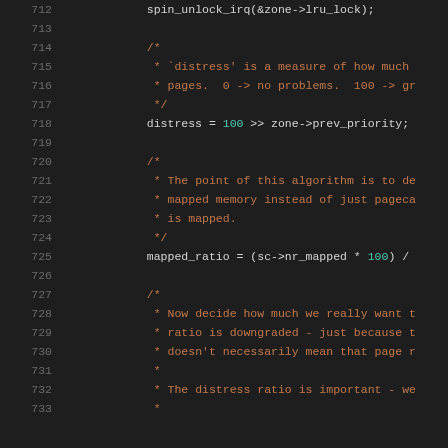Source code listing, lines 712-733, C kernel memory management code